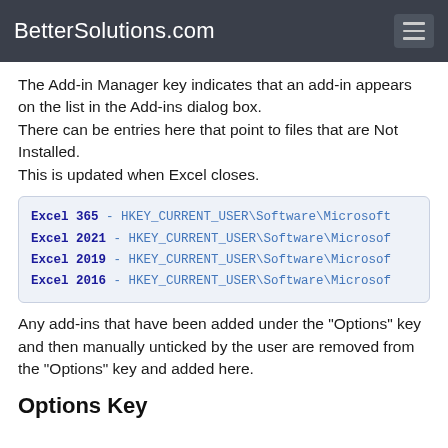BetterSolutions.com
The Add-in Manager key indicates that an add-in appears on the list in the Add-ins dialog box.
There can be entries here that point to files that are Not Installed.
This is updated when Excel closes.
[Figure (screenshot): Code box showing registry keys for Excel 365, 2021, 2019, 2016 pointing to HKEY_CURRENT_USER\Software\Microsoft]
Any add-ins that have been added under the "Options" key and then manually unticked by the user are removed from the "Options" key and added here.
Options Key